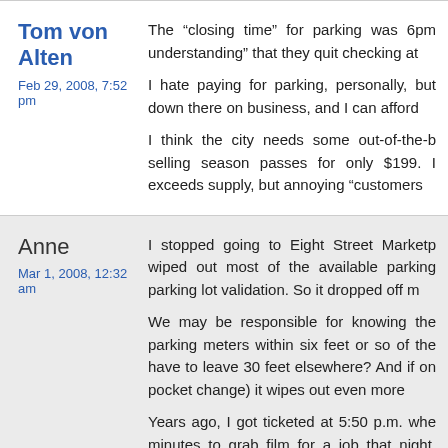Tom von Alten
Feb 29, 2008, 7:52 pm
The “closing time” for parking was 6pm understanding” that they quit checking at
I hate paying for parking, personally, but down there on business, and I can afford
I think the city needs some out-of-the-b selling season passes for only $199. I exceeds supply, but annoying “customers
Anne
Mar 1, 2008, 12:32 am
I stopped going to Eight Street Marketp wiped out most of the available parking parking lot validation. So it dropped off m
We may be responsible for knowing the parking meters within six feet or so of the have to leave 30 feet elsewhere? And if on pocket change) it wipes out even more
Years ago, I got ticketed at 5:50 p.m. whe minutes to grab film for a job that night. one around to need that space but the pa
Mr. Logic
A LOGICAL solution to this debate would council. THEY park for free at taxpayer e